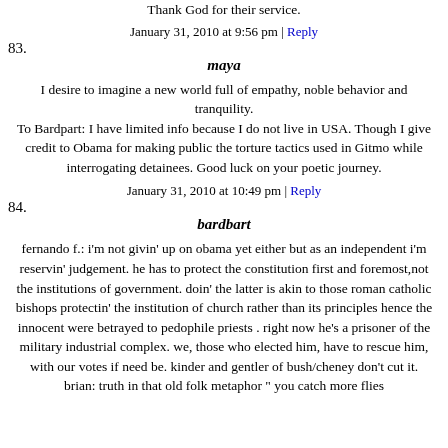Thank God for their service.
January 31, 2010 at 9:56 pm | Reply
83.
maya
I desire to imagine a new world full of empathy, noble behavior and tranquility. To Bardpart: I have limited info because I do not live in USA. Though I give credit to Obama for making public the torture tactics used in Gitmo while interrogating detainees. Good luck on your poetic journey.
January 31, 2010 at 10:49 pm | Reply
84.
bardbart
fernando f.: i'm not givin' up on obama yet either but as an independent i'm reservin' judgement. he has to protect the constitution first and foremost,not the institutions of government. doin' the latter is akin to those roman catholic bishops protectin' the institution of church rather than its principles hence the innocent were betrayed to pedophile priests . right now he's a prisoner of the military industrial complex. we, those who elected him, have to rescue him, with our votes if need be. kinder and gentler of bush/cheney don't cut it.
brian: truth in that old folk metaphor " you catch more flies